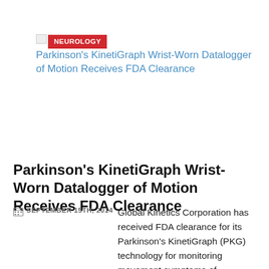Parkinson's KinetiGraph Wrist-Worn Datalogger of Motion Receives FDA Clearance
[Figure (logo): NEUROLOGY category badge (red rectangle with white text) and broken image icon next to a blue hyperlink title]
Parkinson's KinetiGraph Wrist-Worn Datalogger of Motion Receives FDA Clearance
SEPTEMBER 15TH, 2014   Global Kinetics Corporation has received FDA clearance for its Parkinson's KinetiGraph (PKG) technology for monitoring movement symptoms of Parkinson's disease and other neuromuscular disorders. Symptoms of various movement disorders can vary throughout the course of a day and currently physicians